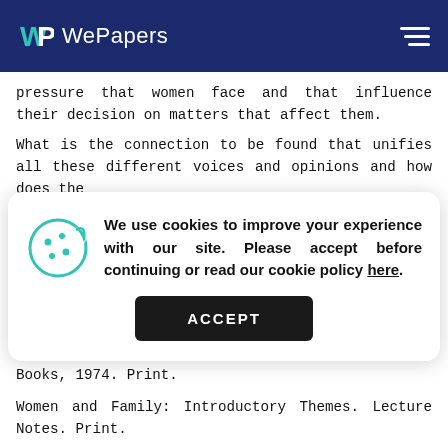WePapers
pressure that women face and that influence their decision on matters that affect them.
What is the connection to be found that unifies all these different voices and opinions and how does the
We use cookies to improve your experience with our site. Please accept before continuing or read our cookie policy here.
Dworkin, Andrea. Woman Hating. New York: Penguin Books, 1974. Print.
Women and Family: Introductory Themes. Lecture Notes. Print.